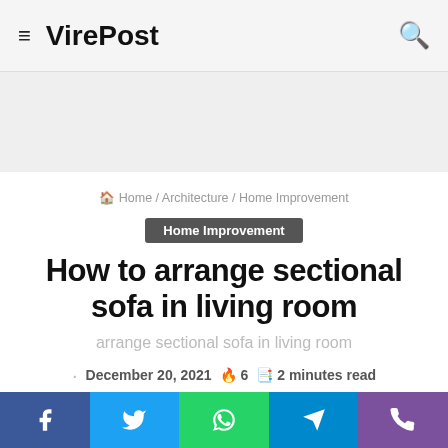≡ VirePost
Home / Architecture / Home Improvement
Home Improvement
How to arrange sectional sofa in living room
arrange sectional sofa in living room
· December 20, 2021 🔥 6 📖 2 minutes read